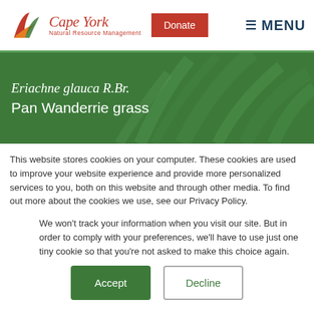Cape York Natural Resource Management | Donate | MENU
Eriachne glauca R.Br.
Pan Wanderrie grass
This website stores cookies on your computer. These cookies are used to improve your website experience and provide more personalized services to you, both on this website and through other media. To find out more about the cookies we use, see our Privacy Policy.
We won't track your information when you visit our site. But in order to comply with your preferences, we'll have to use just one tiny cookie so that you're not asked to make this choice again.
Accept | Decline